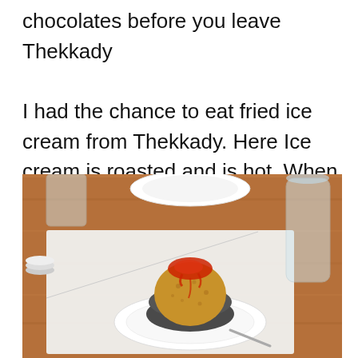chocolates before you leave Thekkady

I had the chance to eat fried ice cream from Thekkady. Here Ice cream is roasted and is hot. When you are visit Thekkady, don't forget to taste this from Hotel Silver Crest.
[Figure (photo): A photo of fried ice cream served in a round dark metal bowl on a white plate, placed on a wooden table with a white placemat, a white plate and a glass water carafe visible in the background.]